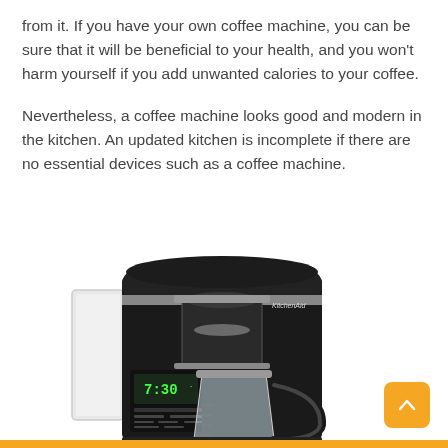from it. If you have your own coffee machine, you can be sure that it will be beneficial to your health, and you won't harm yourself if you add unwanted calories to your coffee.
Nevertheless, a coffee machine looks good and modern in the kitchen. An updated kitchen is incomplete if there are no essential devices such as a coffee machine.
[Figure (photo): Photo of a KitchenAid black drip coffee machine with a glass carafe, digital display showing 7:30, and chrome accents.]